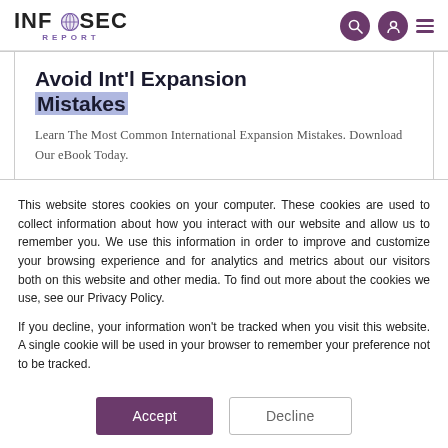INFOSEC REPORT
[Figure (infographic): Advertisement banner: Avoid Int'l Expansion Mistakes - Learn The Most Common International Expansion Mistakes. Download Our eBook Today.]
This website stores cookies on your computer. These cookies are used to collect information about how you interact with our website and allow us to remember you. We use this information in order to improve and customize your browsing experience and for analytics and metrics about our visitors both on this website and other media. To find out more about the cookies we use, see our Privacy Policy.
If you decline, your information won't be tracked when you visit this website. A single cookie will be used in your browser to remember your preference not to be tracked.
Accept  Decline